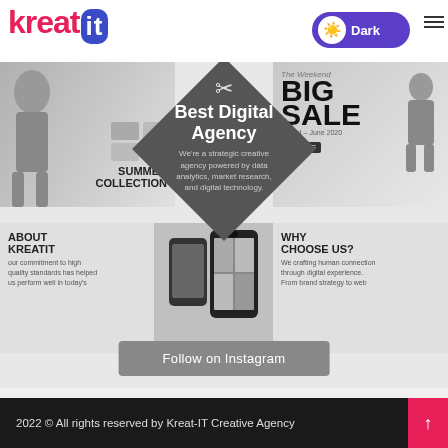[Figure (logo): KreatIT logo with pink 'kreat' text and blue rounded box containing 'it' in white]
[Figure (screenshot): Instagram feed screenshot showing diamond-shaped tiles: top-left fashion/summer collection, center dark diamond with 'Best Digital Agency' text, top-right BIG SALE promotional image, bottom-left About KreatIT, bottom-center phone mockup, bottom-right Why Choose Us]
Best Digital Agency
We're a strategic creative agency powered by data analytics, market research, and digital technology.
ABOUT KREATIT
our commitment to high quality standards has helped us perform well in today's
WHY CHOOSE US?
We crafting human connection through digital experience. From brand strategy to web
Follow on Instagram
2022 © All rights reserved by Kreat-IT Creative Agency